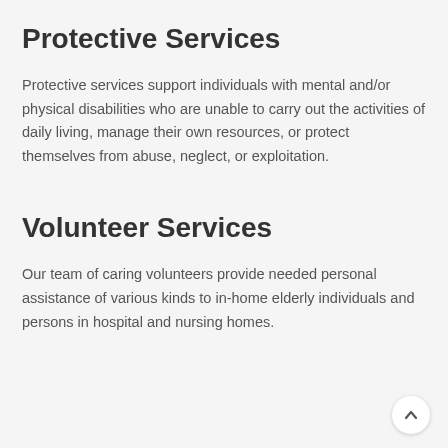Protective Services
Protective services support individuals with mental and/or physical disabilities who are unable to carry out the activities of daily living, manage their own resources, or protect themselves from abuse, neglect, or exploitation.
Volunteer Services
Our team of caring volunteers provide needed personal assistance of various kinds to in-home elderly individuals and persons in hospital and nursing homes.